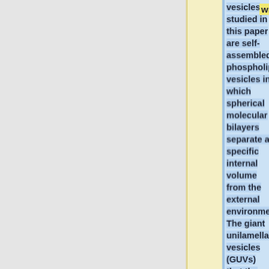writing...
vesicles studied in this paper are self-assembled phospholipid vesicles in which spherical molecular bilayers separate a specific internal volume from the external environment. The giant unilamellar vesicles (GUVs) that the researchers are attempting to isolate are on the order of tens of micrometers in